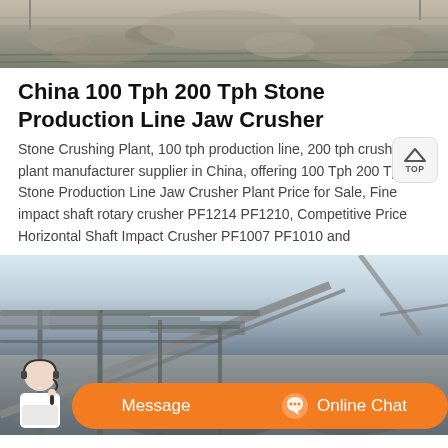[Figure (photo): Top portion of a stone crushing plant or quarry site, showing gravel/stones and industrial structures.]
China 100 Tph 200 Tph Stone Production Line Jaw Crusher
Stone Crushing Plant, 100 tph production line, 200 tph crusher plant manufacturer supplier in China, offering 100 Tph 200 Tph Stone Production Line Jaw Crusher Plant Price for Sale, Fine impact shaft rotary crusher PF1214 PF1210, Competitive Price Horizontal Shaft Impact Crusher PF1007 PF1010 and
[Figure (photo): Bottom portion showing an industrial conveyor belt structure at a stone crushing facility with sky in background. Includes an orange 'Message' and 'Online Chat' bar with a customer service agent.]